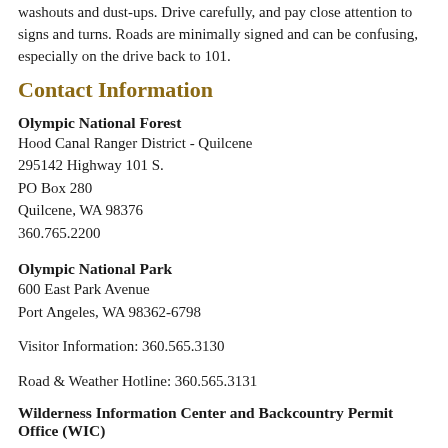washouts and dust-ups. Drive carefully, and pay close attention to signs and turns. Roads are minimally signed and can be confusing, especially on the drive back to 101.
Contact Information
Olympic National Forest
Hood Canal Ranger District - Quilcene
295142 Highway 101 S.
PO Box 280
Quilcene, WA 98376
360.765.2200
Olympic National Park
600 East Park Avenue
Port Angeles, WA 98362-6798
Visitor Information: 360.565.3130
Road & Weather Hotline: 360.565.3131
Wilderness Information Center and Backcountry Permit Office (WIC)